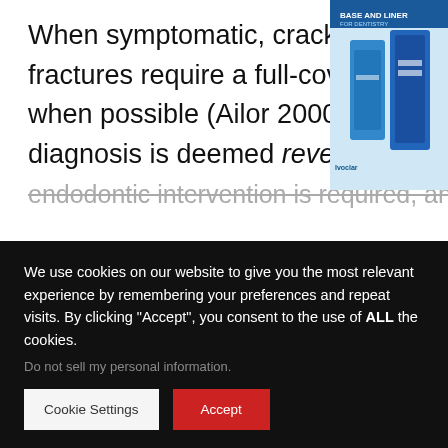When symptomatic, cracked teeth and cusp fractures require a full-coverage coronal restoration when possible (Ailor 2000). In cases where the diagnosis is deemed reversible pulpitis, no endodontic intervention is required, and a crown
[Figure (screenshot): Advertisement image showing dental/medical product packaging in top-right corner]
[Figure (logo): Glidewell Symposium 2022 logo with tooth graphic and scattered dots]
ked teeth er
We use cookies on our website to give you the most relevant experience by remembering your preferences and repeat visits. By clicking “Accept”, you consent to the use of ALL the cookies.
Do not sell my personal information.
Cookie Settings
Accept